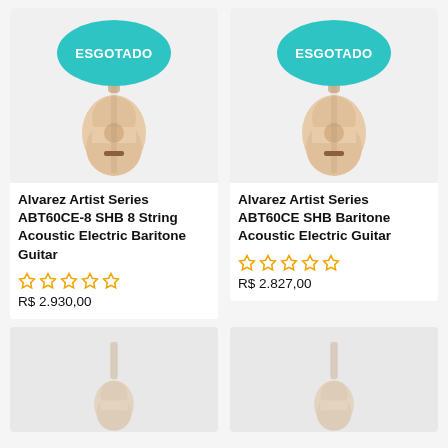[Figure (photo): Alvarez ABT60CE-8 SHB guitar with teal ESGOTADO badge]
Alvarez Artist Series ABT60CE-8 SHB 8 String Acoustic Electric Baritone Guitar
R$ 2.930,00
[Figure (photo): Alvarez ABT60CE SHB Baritone guitar with teal ESGOTADO badge]
Alvarez Artist Series ABT60CE SHB Baritone Acoustic Electric Guitar
R$ 2.827,00
[Figure (photo): Partially visible guitar product card (bottom left)]
[Figure (photo): Partially visible guitar product card (bottom right)]